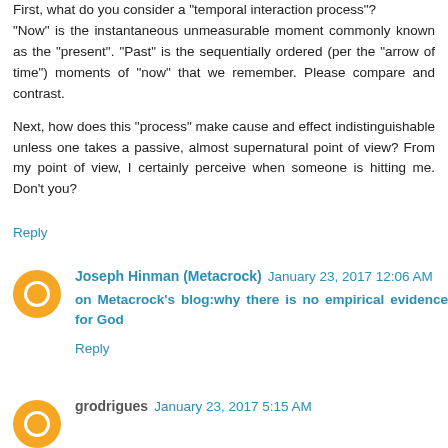First, what do you consider a "temporal interaction process"?
"Now" is the instantaneous unmeasurable moment commonly known as the "present". "Past" is the sequentially ordered (per the "arrow of time") moments of "now" that we remember. Please compare and contrast.

Next, how does this "process" make cause and effect indistinguishable unless one takes a passive, almost supernatural point of view? From my point of view, I certainly perceive when someone is hitting me. Don't you?
Reply
Joseph Hinman (Metacrock) January 23, 2017 12:06 AM
on Metacrock's blog:why there is no empirical evidence for God
Reply
grodrigues January 23, 2017 5:15 AM